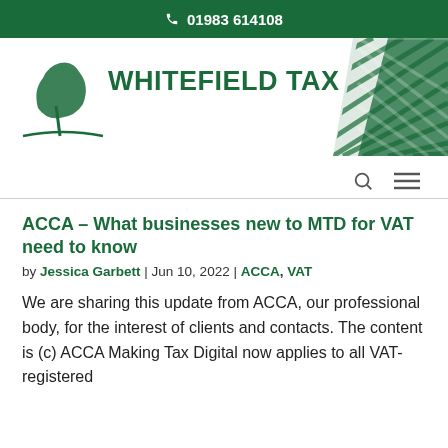01983 614108
[Figure (logo): Whitefield Tax logo with tree illustration and green diagonal hatching graphic on the right]
ACCA – What businesses new to MTD for VAT need to know
by Jessica Garbett | Jun 10, 2022 | ACCA, VAT
We are sharing this update from ACCA, our professional body, for the interest of clients and contacts. The content is (c) ACCA Making Tax Digital now applies to all VAT-registered